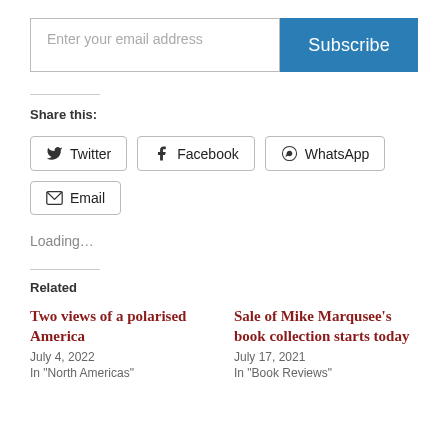Enter your email address
Subscribe
Share this:
Twitter
Facebook
WhatsApp
Email
Loading...
Related
Two views of a polarised America
July 4, 2022
In "North Americas"
Sale of Mike Marqusee's book collection starts today
July 17, 2021
In "Book Reviews"